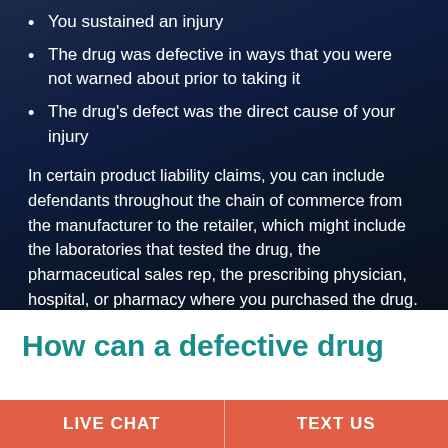You sustained an injury
The drug was defective in ways that you were not warned about prior to taking it
The drug's defect was the direct cause of your injury
In certain product liability claims, you can include defendants throughout the chain of commerce from the manufacturer to the retailer, which might include the laboratories that tested the drug, the pharmaceutical sales rep, the prescribing physician, hospital, or pharmacy where you purchased the drug.
How can a defective drug
LIVE CHAT | TEXT US